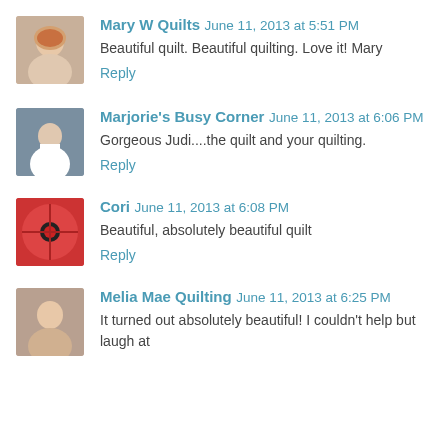Mary W Quilts June 11, 2013 at 5:51 PM
Beautiful quilt. Beautiful quilting. Love it! Mary
Reply
Marjorie's Busy Corner June 11, 2013 at 6:06 PM
Gorgeous Judi....the quilt and your quilting.
Reply
Cori June 11, 2013 at 6:08 PM
Beautiful, absolutely beautiful quilt
Reply
Melia Mae Quilting June 11, 2013 at 6:25 PM
It turned out absolutely beautiful! I couldn't help but laugh at